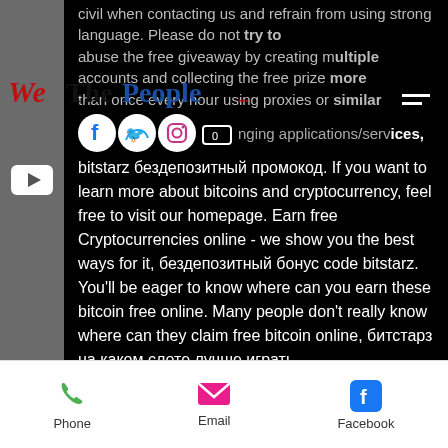[Figure (screenshot): Mobile web page screenshot showing a dark-themed webpage with social media icons, Cyrillic and English text about bitstarz cryptocurrency, overlaid with 'The People' newspaper logo and a gray YouTube sidebar. Bottom has Phone, Email, Facebook contact bar.]
civil when contacting us and refrain from using strong language. Please do not try to abuse the free giveaway by creating multiple accounts and collecting the free prize more than once every hour using proxies or similar IP addresses changing applications/services, bitstarz бездепозитный промокод. If you want to learn more about bitcoins and cryptocurrency, feel free to visit our homepage. Earn free Cryptocurrencies online - we show you the best ways for it, бездепозитный бонус code bitstarz. You'll be eager to know where can you earn these bitcoin free online. Many people don't really know where can they claim free bitcoin online, битстарз на каком слоте лучше играть.
Johnnybet bitstarz,
Phone   Email   Facebook